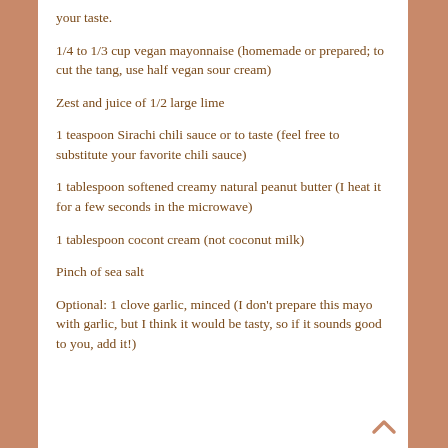your taste.
1/4 to 1/3 cup vegan mayonnaise (homemade or prepared; to cut the tang, use half vegan sour cream)
Zest and juice of 1/2 large lime
1 teaspoon Sirachi chili sauce or to taste (feel free to substitute your favorite chili sauce)
1 tablespoon softened creamy natural peanut butter (I heat it for a few seconds in the microwave)
1 tablespoon cocont cream (not coconut milk)
Pinch of sea salt
Optional: 1 clove garlic, minced (I don't prepare this mayo with garlic, but I think it would be tasty, so if it sounds good to you, add it!)